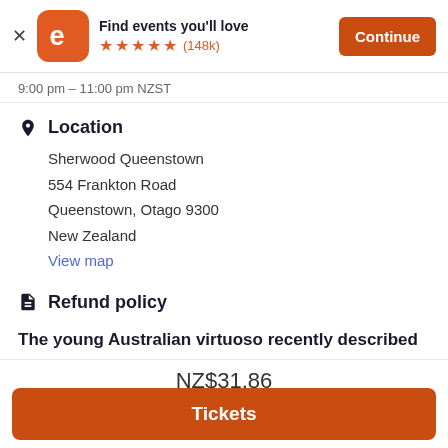Find events you'll love ★★★★★ (148k) Continue
9:00 pm – 11:00 pm NZST
Location
Sherwood Queenstown
554 Frankton Road
Queenstown, Otago 9300
New Zealand
View map
Refund policy
The young Australian virtuoso recently described
NZ$31.86
Tickets